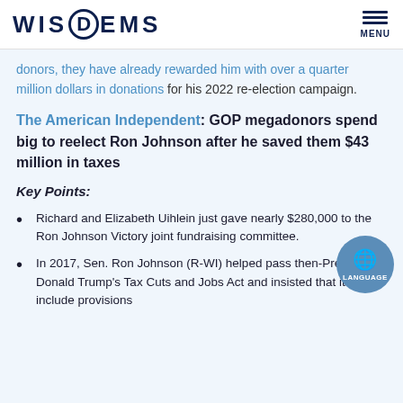WIS DEMS | MENU
donors, they have already rewarded him with over a quarter million dollars in donations for his 2022 re-election campaign.
The American Independent: GOP megadonors spend big to reelect Ron Johnson after he saved them $43 million in taxes
Key Points:
Richard and Elizabeth Uihlein just gave nearly $280,000 to the Ron Johnson Victory joint fundraising committee.
In 2017, Sen. Ron Johnson (R-WI) helped pass then-President Donald Trump's Tax Cuts and Jobs Act and insisted that it include provisions